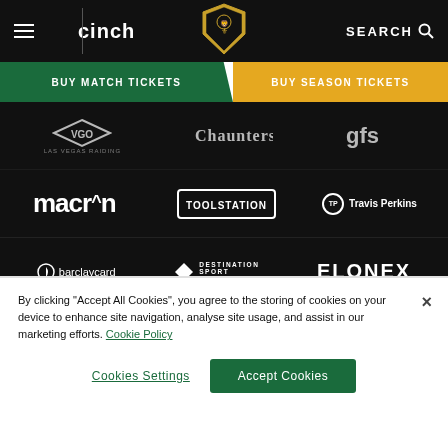[Figure (screenshot): Website navigation bar with hamburger menu, cinch logo, club crest, and SEARCH button on black background]
[Figure (screenshot): Two ticket buttons: BUY MATCH TICKETS (green) and BUY SEASON TICKETS (gold)]
[Figure (screenshot): Sponsor logos grid on black background: row 1 partial logos, row 2: macron, TOOLSTATION, Travis Perkins, row 3: barclaycard, Destination Sport Travel, ELONEX, row 4: Michael Jones Jeweller, MIRUS, Hyundai Spirit]
By clicking “Accept All Cookies”, you agree to the storing of cookies on your device to enhance site navigation, analyse site usage, and assist in our marketing efforts. Cookie Policy
Cookies Settings
Accept Cookies